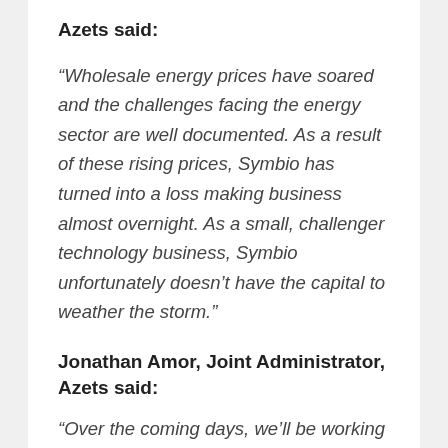Azets said:
“Wholesale energy prices have soared and the challenges facing the energy sector are well documented. As a result of these rising prices, Symbio has turned into a loss making business almost overnight. As a small, challenger technology business, Symbio unfortunately doesn’t have the capital to weather the storm.”
Jonathan Amor, Joint Administrator, Azets said:
“Over the coming days, we’ll be working